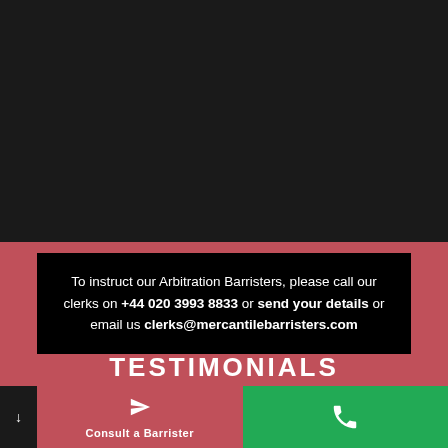[Figure (photo): Dark background photo, appears to be a barrister or legal office setting]
To instruct our Arbitration Barristers, please call our clerks on +44 020 3993 8833 or send your details or email us clerks@mercantilebarristers.com
TESTIMONIALS
Consult a Barrister